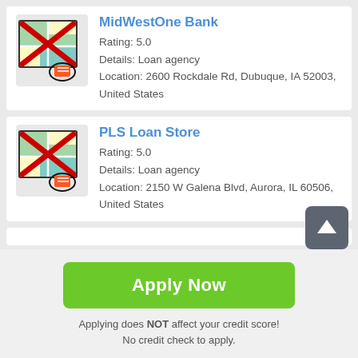[Figure (illustration): Map icon with red X cross overlay and a small red marker/pin icon circled in black]
MidWestOne Bank
Rating: 5.0
Details: Loan agency
Location: 2600 Rockdale Rd, Dubuque, IA 52003, United States
[Figure (illustration): Map icon with red X cross overlay and a small red marker/pin icon circled in black]
PLS Loan Store
Rating: 5.0
Details: Loan agency
Location: 2150 W Galena Blvd, Aurora, IL 60506, United States
Apply Now
Applying does NOT affect your credit score!
No credit check to apply.